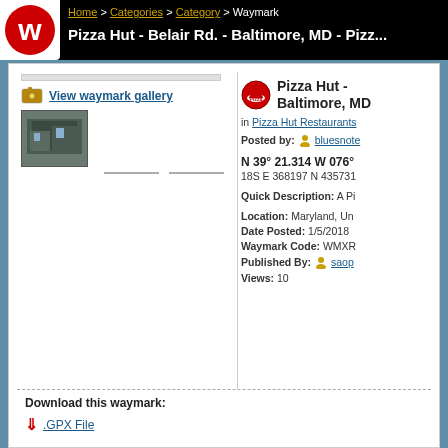Home > Categories > Category > Waymark
Pizza Hut - Belair Rd. - Baltimore, MD - Pizza Hut Restaurants
[Figure (logo): Waymarking.com W logo, red circle with white W]
[Figure (photo): Thumbnail photo of Pizza Hut on Belair Rd, Baltimore MD]
View waymark gallery
Pizza Hut - Baltimore, MD
in Pizza Hut Restaurants
Posted by: bluesnote
N 39° 21.314 W 076°
18S E 368197 N 435731
Quick Description: A Pi
| Location: | Maryland, Un |
| Date Posted: | 1/5/2018 |
| Waymark Code: | WMXR |
| Published By: | saop |
| Views: | 10 |
Download this waymark:
.GPX File